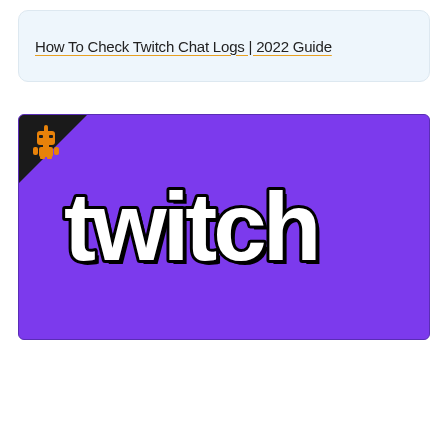How To Check Twitch Chat Logs | 2022 Guide
[Figure (illustration): Twitch logo on a purple background with a dark corner badge featuring an orange robot/android icon in the top-left corner. The Twitch wordmark is displayed in bold white letters with a black drop shadow on a bright purple (#7c3aed) background.]